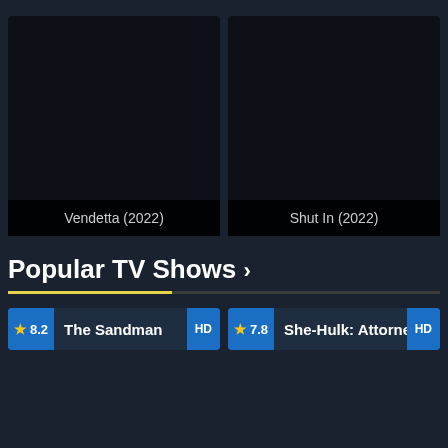[Figure (screenshot): Movie card: Vendetta (2022) - dark thumbnail with title bar]
[Figure (screenshot): Movie card: Shut In (2022) - dark thumbnail with title bar]
Popular TV Shows >
[Figure (screenshot): TV show card: The Sandman rated 8.2, HD badge]
[Figure (screenshot): TV show card: She-Hulk: Attorney at Law rated 7.8, HD badge]